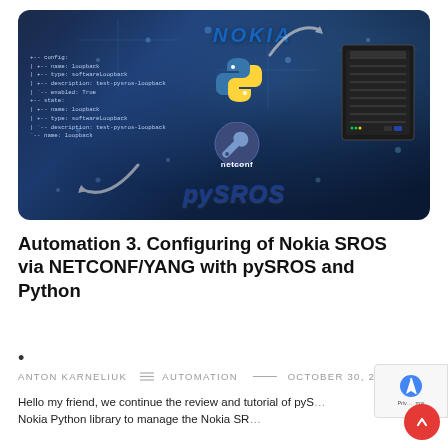[Figure (illustration): Hero banner showing Nokia, Python, netconf, and pySROS logos alongside a router/switch image and a YANG/CLI code block on a dark blue circuit-board background, with curved arrows indicating a workflow cycle.]
Automation 3. Configuring of Nokia SROS via NETCONF/YANG with pySROS and Python
•
ANTON KARNELIUK  ≡ AUTOMATION  —  OCTOBER 30, 20…
Hello my friend, we continue the review and tutorial of pyS… Nokia Python library to manage the Nokia SR…